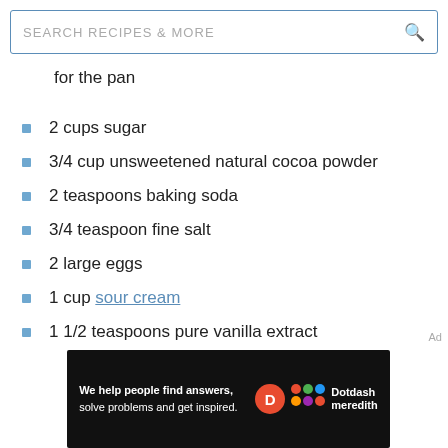SEARCH RECIPES & MORE
for the pan
2 cups sugar
3/4 cup unsweetened natural cocoa powder
2 teaspoons baking soda
3/4 teaspoon fine salt
2 large eggs
1 cup sour cream
1 1/2 teaspoons pure vanilla extract
[Figure (other): Dotdash Meredith advertisement banner: 'We help people find answers, solve problems and get inspired.']